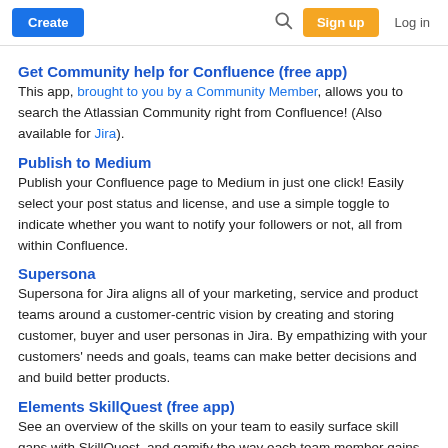Create | Search | Sign up | Log in
Get Community help for Confluence (free app)
This app, brought to you by a Community Member, allows you to search the Atlassian Community right from Confluence! (Also available for Jira).
Publish to Medium
Publish your Confluence page to Medium in just one click! Easily select your post status and license, and use a simple toggle to indicate whether you want to notify your followers or not, all from within Confluence.
Supersona
Supersona for Jira aligns all of your marketing, service and product teams around a customer-centric vision by creating and storing customer, buyer and user personas in Jira. By empathizing with your customers' needs and goals, teams can make better decisions and and build better products.
Elements SkillQuest (free app)
See an overview of the skills on your team to easily surface skill gaps with SkillQuest, and gamify the way each team member gains new skills and experience to level up in their role.